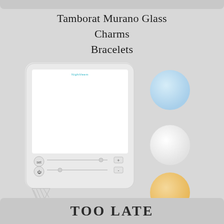Tamborat Murano Glass Charms Bracelets
[Figure (photo): A white rectangular light therapy lamp device with a bright white screen, small control buttons with sliders at the bottom, a folding stand at the back, and three color swatches (light blue, white, warm yellow/amber) displayed to the right of the device.]
TOO LATE